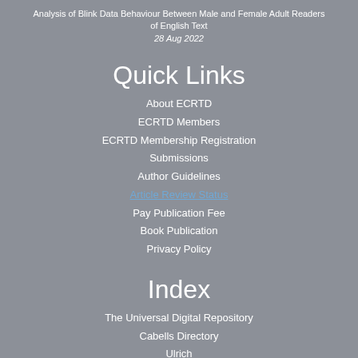Analysis of Blink Data Behaviour Between Male and Female Adult Readers of English Text
28 Aug 2022
Quick Links
About ECRTD
ECRTD Members
ECRTD Membership Registration
Submissions
Author Guidelines
Article Review Status
Pay Publication Fee
Book Publication
Privacy Policy
Index
The Universal Digital Repository
Cabells Directory
Ulrich
Open J Gate
New Jour
ECRTD
Proquest
DOAJ